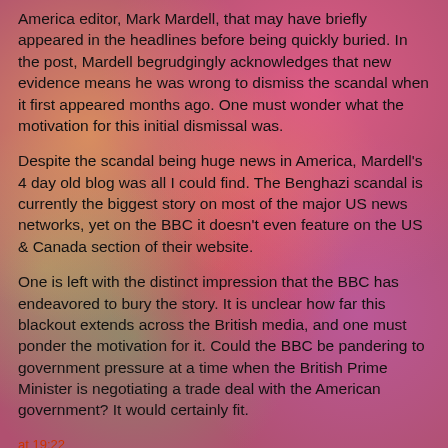America editor, Mark Mardell, that may have briefly appeared in the headlines before being quickly buried. In the post, Mardell begrudgingly acknowledges that new evidence means he was wrong to dismiss the scandal when it first appeared months ago. One must wonder what the motivation for this initial dismissal was.
Despite the scandal being huge news in America, Mardell's 4 day old blog was all I could find. The Benghazi scandal is currently the biggest story on most of the major US news networks, yet on the BBC it doesn't even feature on the US & Canada section of their website.
One is left with the distinct impression that the BBC has endeavored to bury the story. It is unclear how far this blackout extends across the British media, and one must ponder the motivation for it. Could the BBC be pandering to government pressure at a time when the British Prime Minister is negotiating a trade deal with the American government? It would certainly fit.
at 19:22